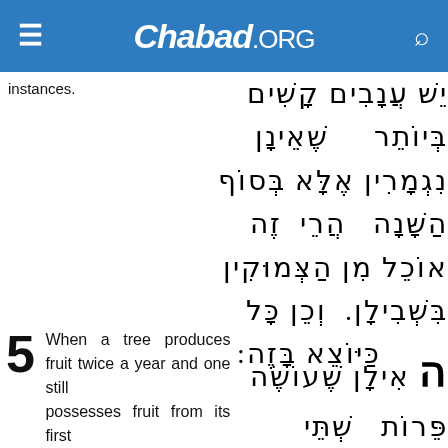Chabad.ORG
instances.
יֵשׁ עֲנָבִים קָשִׁים בְּיוֹתֵר שֶׁאֵינָן נִגְמָרִין אֶלָּא בְּסוֹף הַשָּׁנָה הֲרֵי זֶה אוֹכֵל מִן הַצְּמוּקִין בִּשְׁבִילָן. וְכֵן כָּל כַּיּוֹצֵא בָּזֶה:
5  When a tree produces fruit twice a year and one still possesses fruit from its first
ה אִילָן שֶׁעוֹשֶׂה פֵּרוֹת שְׁתֵּי